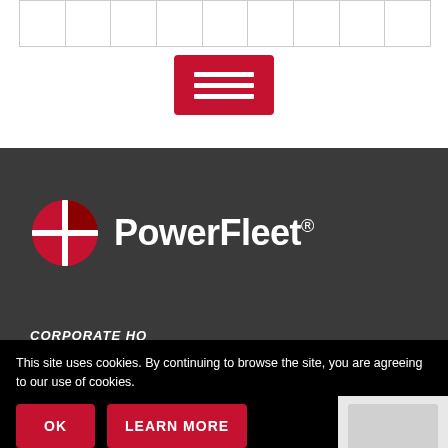|  |   |   |   |   |   |   |   |   |
[Figure (screenshot): Red hamburger menu button with three white horizontal lines]
[Figure (logo): PowerFleet logo: red circular icon with white cross/quarter design, white bold text 'PowerFleet' with registered trademark symbol]
CORPORATE HQ
123 Tice Blvd. Suite 101
Woodcliff Lake, NJ 07677
info@powerfleet.com
This site uses cookies. By continuing to browse the site, you are agreeing to our use of cookies.
OK
LEARN MORE